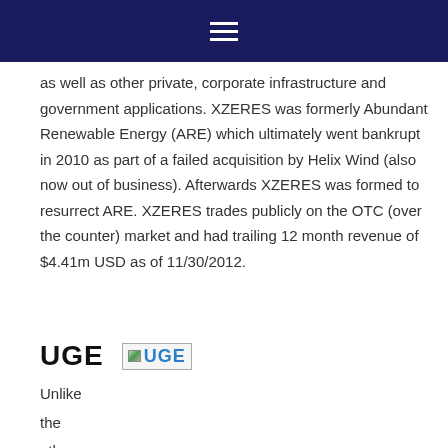as well as other private, corporate infrastructure and government applications. XZERES was formerly Abundant Renewable Energy (ARE) which ultimately went bankrupt in 2010 as part of a failed acquisition by Helix Wind (also now out of business). Afterwards XZERES was formed to resurrect ARE. XZERES trades publicly on the OTC (over the counter) market and had trailing 12 month revenue of $4.41m USD as of 11/30/2012.
UGE
[Figure (logo): UGE logo image (broken image placeholder)]
Unlike the other compan